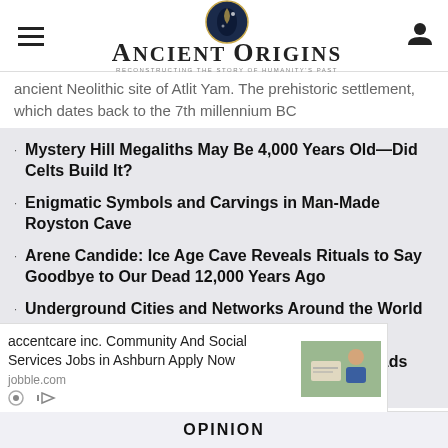Ancient Origins — Reconstructing the story of humanity's past
ancient Neolithic site of Atlit Yam. The prehistoric settlement, which dates back to the 7th millennium BC
Mystery Hill Megaliths May Be 4,000 Years Old—Did Celts Build It?
Enigmatic Symbols and Carvings in Man-Made Royston Cave
Arene Candide: Ice Age Cave Reveals Rituals to Say Goodbye to Our Dead 12,000 Years Ago
Underground Cities and Networks Around the World – Myths and Reality (Part 1)
Ruins of Malden Island and The Mysterious Roads that Lead into the Sea
accentcare inc. Community And Social Services Jobs in Ashburn Apply Now
jobble.com
OPINION